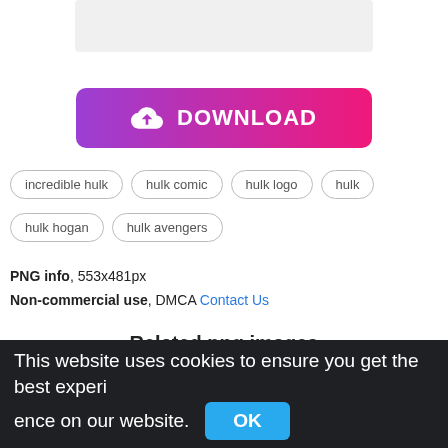[Figure (other): Gray placeholder image area at top]
[Figure (other): Download button with gradient purple to pink background, cloud download icon, and text DOWNLOAD]
incredible hulk
hulk comic
hulk logo
hulk
hulk hogan
hulk avengers
PNG info, 553x481px
Non-commercial use, DMCA Contact Us
Related png images
This website uses cookies to ensure you get the best experience on our website. OK